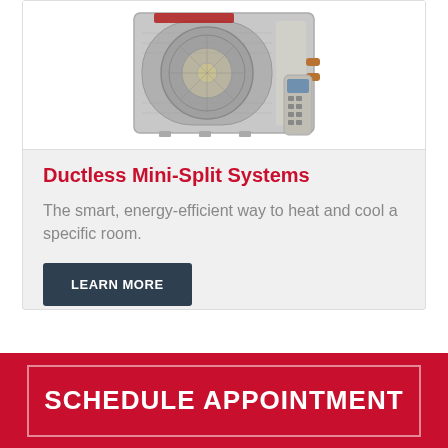[Figure (photo): Toshiba ductless mini-split outdoor AC unit with remote control, shown against a white background]
Ductless Mini-Split Systems
The smart, energy-efficient way to heat and cool a specific room.
LEARN MORE
SCHEDULE APPOINTMENT